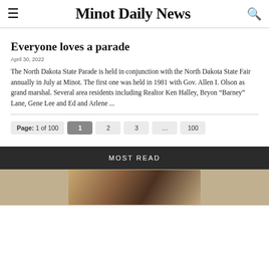Minot Daily News
Everyone loves a parade
April 30, 2022
The North Dakota State Parade is held in conjunction with the North Dakota State Fair annually in July at Minot. The first one was held in 1981 with Gov. Allen I. Olson as grand marshal. Several area residents including Realtor Ken Halley, Bryon “Barney” Lane, Gene Lee and Ed and Arlene ...
Page: 1 of 100  1  2  3  ...  100
MOST READ
[Figure (photo): Photo of people, partially visible at bottom of page]